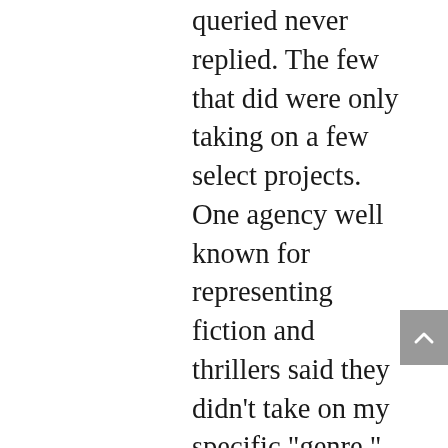queried never replied. The few that did were only taking on a few select projects. One agency well known for representing fiction and thrillers said they didn't take on my specific “genre.”
Ahem, I was pitching a political thriller.
Related post: How to Solve Hollywood’s Lack of Latino Roles
TREND OR SNUB?
The question became